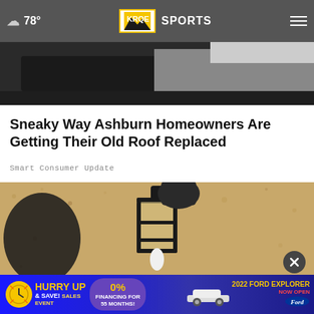78° KRQE SPORTS
[Figure (photo): Top portion of a dark rooftop or building edge photo]
Sneaky Way Ashburn Homeowners Are Getting Their Old Roof Replaced
Smart Consumer Update
[Figure (photo): Close-up of a black outdoor wall lantern mounted on a beige stucco wall]
[Figure (infographic): Advertisement banner: HURRY UP & SAVE! SALES EVENT 0% FINANCING FOR 55 MONTHS! 2022 FORD EXPLORER]